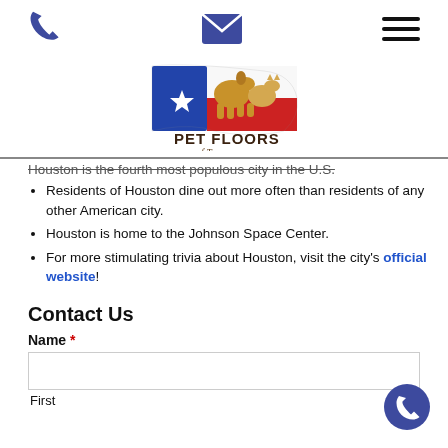[Phone icon] [Mail icon] [Menu icon]
[Figure (logo): Pet Floors of Texas logo with Texas flag and dog/cat silhouettes]
Houston is the fourth most populous city in the U.S.
Residents of Houston dine out more often than residents of any other American city.
Houston is home to the Johnson Space Center.
For more stimulating trivia about Houston, visit the city's official website!
Contact Us
Name *
First